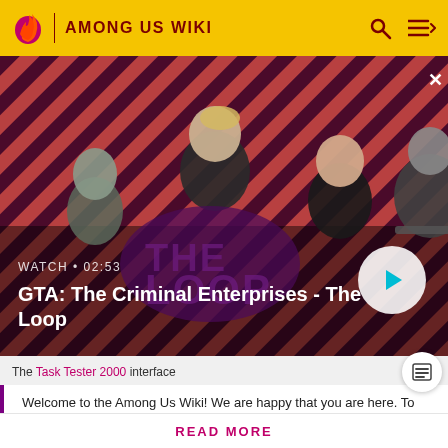AMONG US WIKI
[Figure (screenshot): GTA: The Criminal Enterprises - The Loop video thumbnail showing characters on a striped red background with a play button. Label shows WATCH • 02:53]
The Task Tester 2000 interface
Welcome to the Among Us Wiki! We are happy that you are here. To get started, make sure you know our wiki rules! Also,
READ MORE